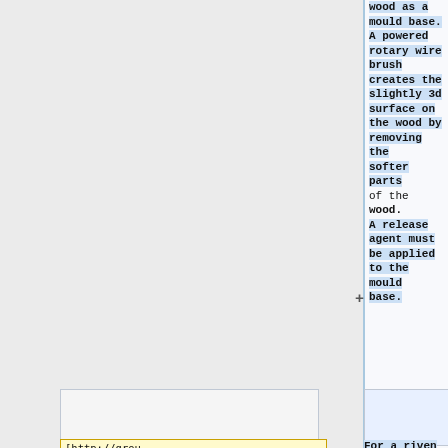wood as a mould base. A powered rotary wire brush creates the slightly 3d surface on the wood by removing the softer parts of the wood. A release agent must be applied to the mould base.
[http://groups.google.com/group/uk.d
For a riven stone finish,